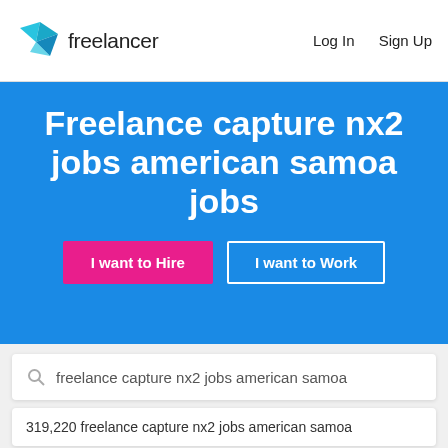[Figure (logo): Freelancer logo with blue origami bird icon and 'freelancer' wordmark]
Log In   Sign Up
Freelance capture nx2 jobs american samoa jobs
I want to Hire
I want to Work
freelance capture nx2 jobs american samoa
319,220 freelance capture nx2 jobs american samoa